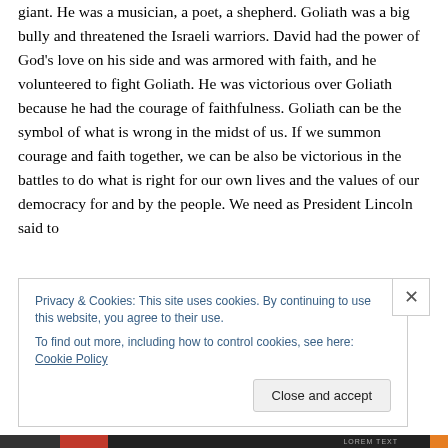giant. He was a musician, a poet, a shepherd. Goliath was a big bully and threatened the Israeli warriors. David had the power of God's love on his side and was armored with faith, and he volunteered to fight Goliath. He was victorious over Goliath because he had the courage of faithfulness. Goliath can be the symbol of what is wrong in the midst of us. If we summon courage and faith together, we can be also be victorious in the battles to do what is right for our own lives and the values of our democracy for and by the people. We need as President Lincoln said to
Privacy & Cookies: This site uses cookies. By continuing to use this website, you agree to their use.
To find out more, including how to control cookies, see here: Cookie Policy